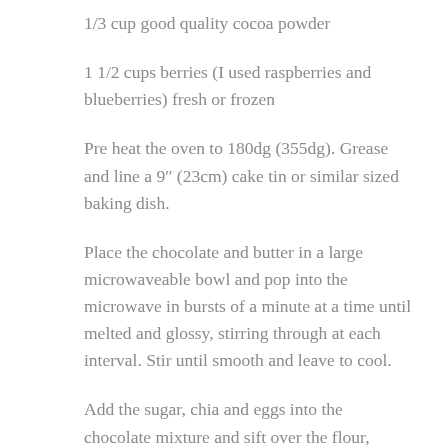1/3 cup good quality cocoa powder
1 1/2 cups berries (I used raspberries and blueberries) fresh or frozen
Pre heat the oven to 180dg (355dg). Grease and line a 9″ (23cm) cake tin or similar sized baking dish.
Place the chocolate and butter in a large microwaveable bowl and pop into the microwave in bursts of a minute at a time until melted and glossy, stirring through at each interval. Stir until smooth and leave to cool.
Add the sugar, chia and eggs into the chocolate mixture and sift over the flour, cocoa and baking powder, mixing well to combine. Pour into the prepared tin and